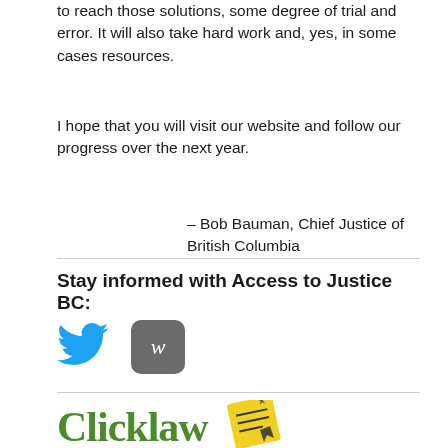to reach those solutions, some degree of trial and error. It will also take hard work and, yes, in some cases resources.
I hope that you will visit our website and follow our progress over the next year.
– Bob Bauman, Chief Justice of British Columbia
Stay informed with Access to Justice BC:
[Figure (logo): Twitter bird logo in blue and a grey rounded square button with italic 'w' letter]
[Figure (logo): Clicklaw logo in green serif font with a yellow sticky note icon]